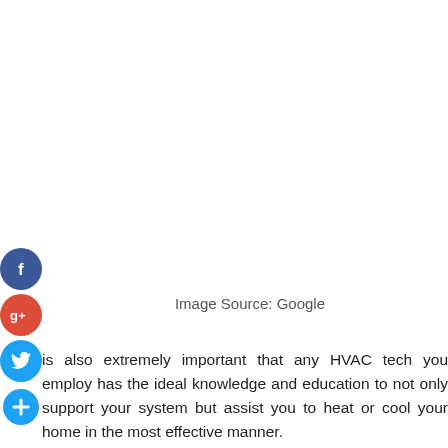[Figure (illustration): Social media sharing icons: Facebook (blue circle with f), Google+ (red circle with g+), Twitter (blue circle with bird), and a blue add/plus circle button, arranged vertically on the left side of the page.]
Image Source: Google
is also extremely important that any HVAC tech you employ has the ideal knowledge and education to not only support your system but assist you to heat or cool your home in the most effective manner.